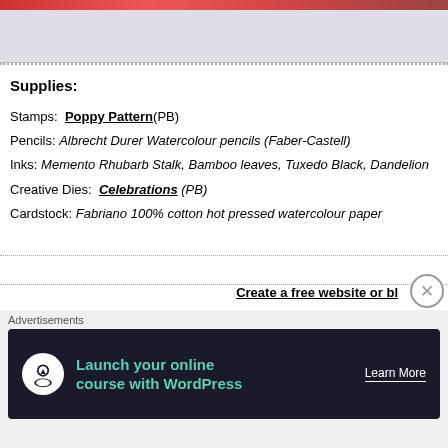[Figure (photo): Top portion of a crafting/art photo showing flowers on paper, partially visible at top of page]
Supplies:
Stamps:  Poppy Pattern(PB)
Pencils: Albrecht Durer Watercolour pencils (Faber-Castell)
Inks: Memento Rhubarb Stalk, Bamboo leaves, Tuxedo Black, Dandelion
Creative Dies:  Celebrations (PB)
Cardstock: Fabriano 100% cotton hot pressed watercolour paper
Create a free website or bl
[Figure (screenshot): Advertisement banner: Launch your online course with WordPress — Learn More button, dark background with teal text]